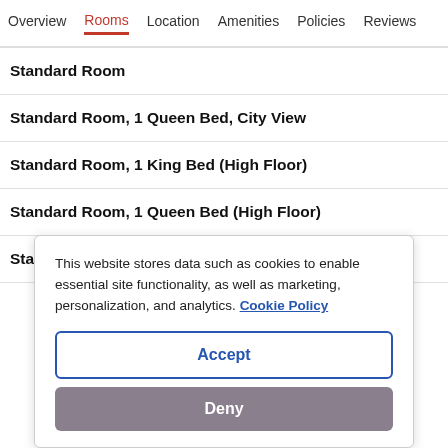Overview  Rooms  Location  Amenities  Policies  Reviews
Standard Room
Standard Room, 1 Queen Bed, City View
Standard Room, 1 King Bed (High Floor)
Standard Room, 1 Queen Bed (High Floor)
Standard Room, 2 Single Beds
This website stores data such as cookies to enable essential site functionality, as well as marketing, personalization, and analytics. Cookie Policy
Accept
Deny